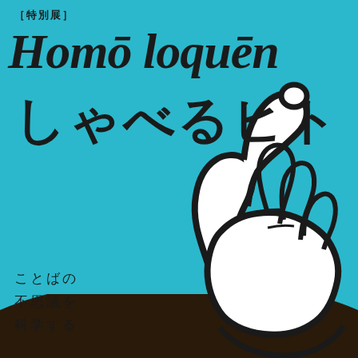［特別展］
Homō loquēn
しゃべるヒト
ことばの
不思議を
科学する
[Figure (illustration): A stylized black and white line drawing of a hand with fingers positioned as if speaking or gesturing, on a cyan/turquoise background, with a dark brown/black arc at the bottom of the image.]